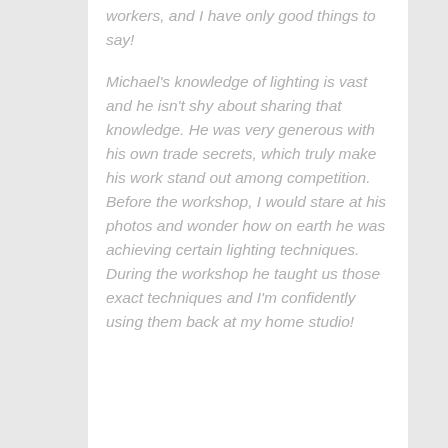workers, and I have only good things to say!
Michael's knowledge of lighting is vast and he isn't shy about sharing that knowledge. He was very generous with his own trade secrets, which truly make his work stand out among competition. Before the workshop, I would stare at his photos and wonder how on earth he was achieving certain lighting techniques. During the workshop he taught us those exact techniques and I'm confidently using them back at my home studio!